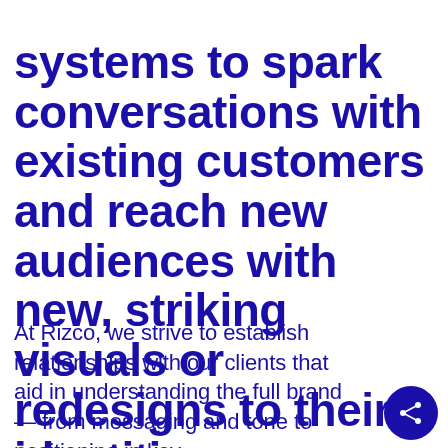systems to spark conversations with existing customers and reach new audiences with new, striking visuals or redesigns to their identities.
At Rizco, we strive to establish relationships with our clients that aid in understanding the full brand — from messaging and tone to positioning in key